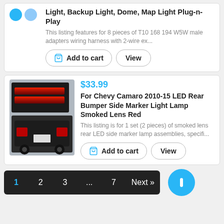[Figure (photo): Product image - two blue/gray circles representing product icons]
Light, Backup Light, Dome, Map Light Plug-n-Play
This listing features for 8 pieces of T10 168 194 W5W male adapters wiring harness with 2-wire ex...
[Figure (photo): Product photo of Chevy Camaro 2010-15 LED Rear Bumper Side Marker Light Lamp Smoked Lens Red - shows red glowing lights on black bumper pieces and a Camaro rear]
$33.99
For Chevy Camaro 2010-15 LED Rear Bumper Side Marker Light Lamp Smoked Lens Red
This listing is for 1 set (2 pieces) of smoked lens rear LED side marker lamp assemblies, specifi...
1  2  3  ...  7  Next »